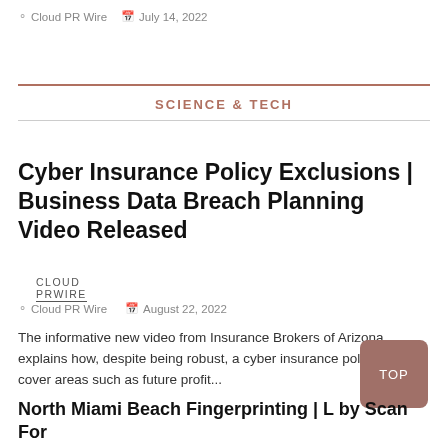Cloud PR Wire  July 14, 2022
SCIENCE & TECH
CLOUD PRWIRE
Cyber Insurance Policy Exclusions | Business Data Breach Planning Video Released
Cloud PR Wire  August 22, 2022
The informative new video from Insurance Brokers of Arizona explains how, despite being robust, a cyber insurance policy doesn't cover areas such as future profit...
North Miami Beach Fingerprinting | L by Scan For